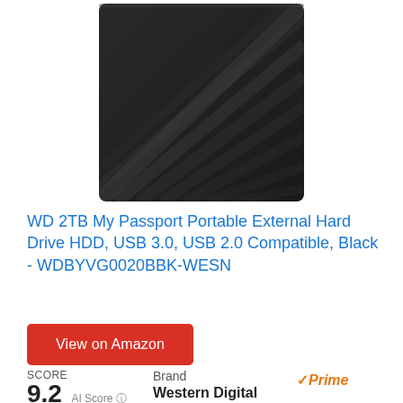[Figure (photo): Black WD My Passport portable external hard drive with diagonal stripe texture on the surface]
WD 2TB My Passport Portable External Hard Drive HDD, USB 3.0, USB 2.0 Compatible, Black - WDBYVG0020BBK-WESN
View on Amazon
SCORE
9.2 AI Score
Brand Western Digital Prime